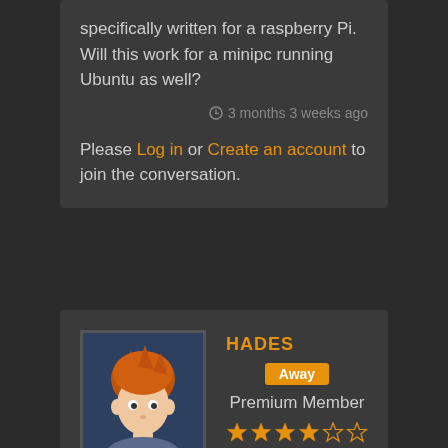specifically written for a raspberry Pi. Will this work for a minipc running Ubuntu as well?
3 months 3 weeks ago
Please Log in or Create an account to join the conversation.
HADES
Away
Premium Member
[Figure (illustration): User avatar showing an orange-haired cartoon character on a dark blue background]
[Figure (illustration): Five-star rating display showing 4 filled orange stars and 1 empty star]